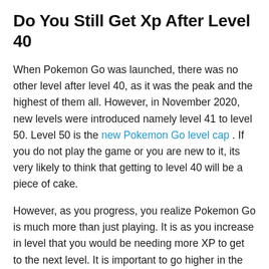Do You Still Get Xp After Level 40
When Pokemon Go was launched, there was no other level after level 40, as it was the peak and the highest of them all. However, in November 2020, new levels were introduced namely level 41 to level 50. Level 50 is the new Pokemon Go level cap . If you do not play the game or you are new to it, its very likely to think that getting to level 40 will be a piece of cake.
However, as you progress, you realize Pokemon Go is much more than just playing. It is as you increase in level that you would be needing more XP to get to the next level. It is important to go higher in the game because the higher you go, the more items you can use. With the new levels of 41 to 50, there are specific thresholds of XPs to be achieved.
That also implies new obstacles and challenges to